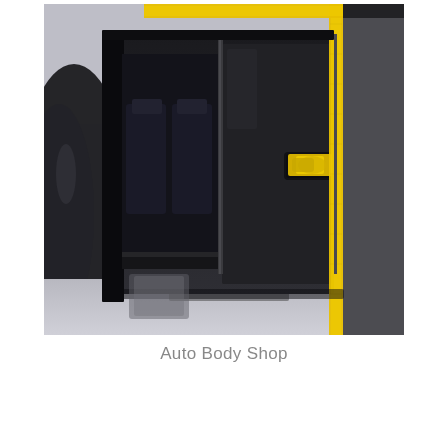[Figure (photo): A car body preparation scene inside an auto body shop. The vehicle door and body panels are painted matte black, with yellow masking tape applied along door edges and around the door handle area. Black plastic sheeting covers the wheel area. The background shows clear plastic sheeting covering other parts of the vehicle.]
Auto Body Shop